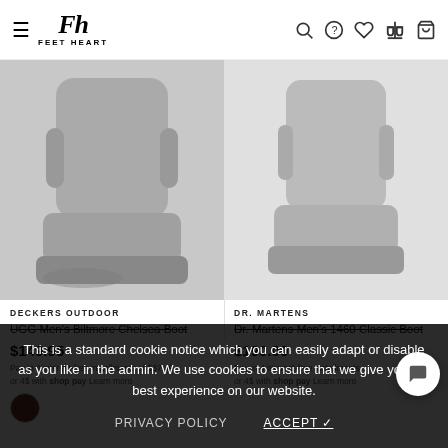FEET HEART — navigation bar with hamburger, logo, search, help, wishlist, compare, cart icons
[Figure (photo): Gray Chelsea boot product photo on gray background, left product card]
DECKERS OUTDOOR
UGG Men's Biltmore Chelsea Boot
$149.95
Pay in 4 interest-free installments of $37.49 with shop Pay Learn more
[Figure (photo): Right product card area for Dr. Martens boot]
DR. MARTENS
Dr. Martens Men's 1460 Classic Boot
$190.00
Pay in 4 interest-free installments of $47.50 with shop Pay Learn more
This is a standard cookie notice which you can easily adapt or disable as you like in the admin. We use cookies to ensure that we give you the best experience on our website.
PRIVACY POLICY   ACCEPT ✓